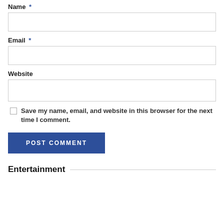Name *
Email *
Website
Save my name, email, and website in this browser for the next time I comment.
POST COMMENT
Entertainment